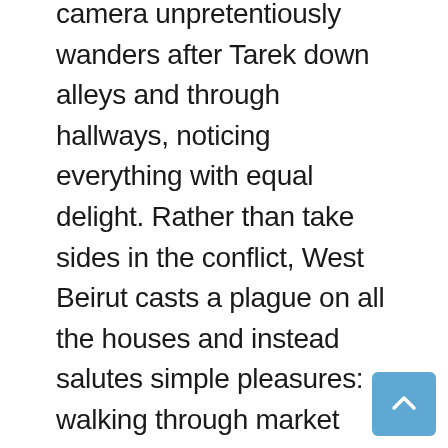camera unpretentiously wanders after Tarek down alleys and through hallways, noticing everything with equal delight. Rather than take sides in the conflict, West Beirut casts a plague on all the houses and instead salutes simple pleasures: walking through market stalls, eating all your lunches at your favorite falafel stand, smoking, weaving your bike through traffic. In Tarek's neighborhood, the morning call of the muezzin is invariably drowned out by the hilariously profane screaming of a neighbor berating the downstairs tenant; centuries of tradition make a pathetic sideshow compared to everyday urban friction.
Ultimately, the film's hero isn't a fighter in the conflict, or even from Tarek's family, though the movie stands in loving awe of Tarek's mother's fearsome protectiveness toward her son, as she knocks over everything in her path to protect him at any cost.